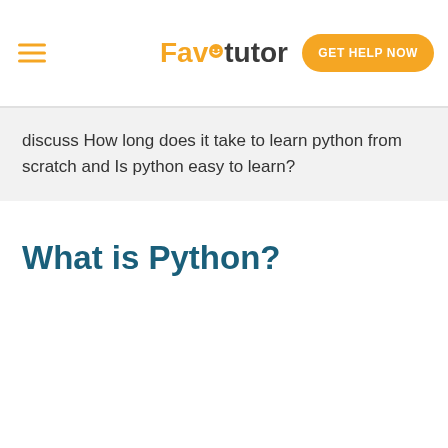Favtutor — GET HELP NOW
discuss How long does it take to learn python from scratch and Is python easy to learn?
What is Python?